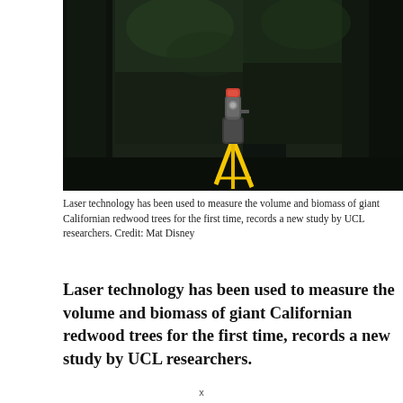[Figure (photo): A laser scanning device on a yellow tripod positioned in a dense redwood forest. Tall dark tree trunks extend upward with green foliage visible in the dark canopy above.]
Laser technology has been used to measure the volume and biomass of giant Californian redwood trees for the first time, records a new study by UCL researchers. Credit: Mat Disney
Laser technology has been used to measure the volume and biomass of giant Californian redwood trees for the first time, records a new study by UCL researchers.
x